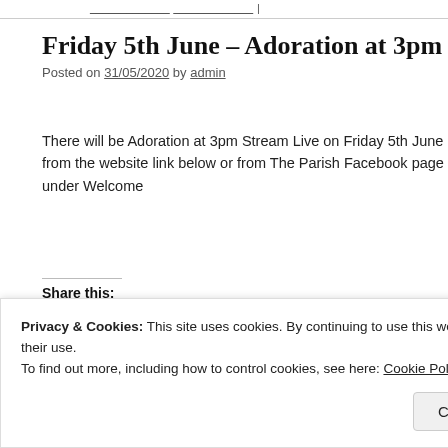Friday 5th June – Adoration at 3pm Strea
Posted on 31/05/2020 by admin
There will be Adoration at 3pm Stream Live on Friday 5th June from the website link below or from The Parish Facebook page under Welcome
Share this:
Posted in Announcements, Parish Events | Comments Off